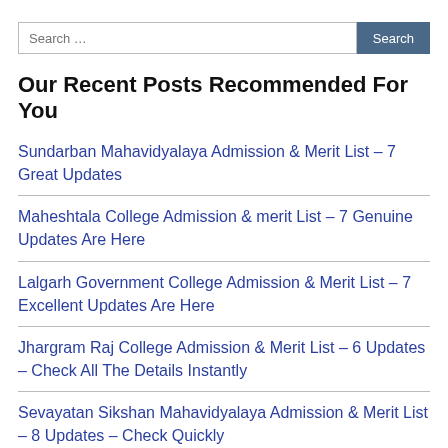Our Recent Posts Recommended For You
Sundarban Mahavidyalaya Admission & Merit List – 7 Great Updates
Maheshtala College Admission & merit List – 7 Genuine Updates Are Here
Lalgarh Government College Admission & Merit List – 7 Excellent Updates Are Here
Jhargram Raj College Admission & Merit List – 6 Updates – Check All The Details Instantly
Sevayatan Sikshan Mahavidyalaya Admission & Merit List – 8 Updates – Check Quickly